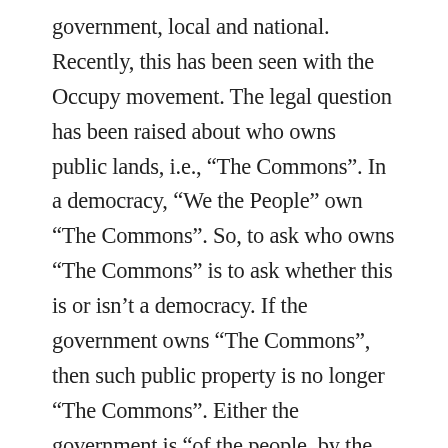government, local and national. Recently, this has been seen with the Occupy movement. The legal question has been raised about who owns public lands, i.e., “The Commons”. In a democracy, “We the People” own “The Commons”. So, to ask who owns “The Commons” is to ask whether this is or isn’t a democracy. If the government owns “The Commons”, then such public property is no longer “The Commons”. Either the government is “of the people, by the people, for the people” or it isn’t. Either the people own and control the government or otherwise